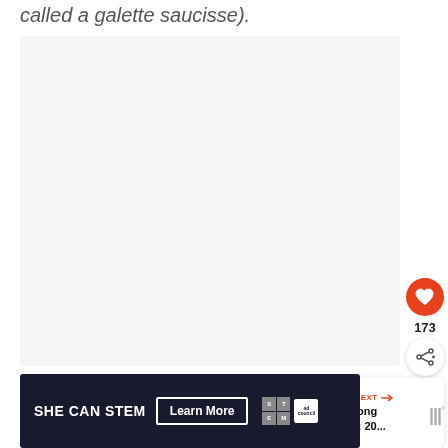called a galette saucisse).
[Figure (photo): Large light gray placeholder image area, approximately square, occupying most of the page width.]
[Figure (infographic): UI overlay: orange heart/like button showing 173 likes, and a white share button with plus icon.]
[Figure (infographic): What's Next card showing a thumbnail image and text: WHAT'S NEXT → Hong Kong Cuisine: 20...]
[Figure (screenshot): Dark ad banner: SHE CAN STEM Learn More with STEM and Ad Council logos, plus WW logo to the right.]